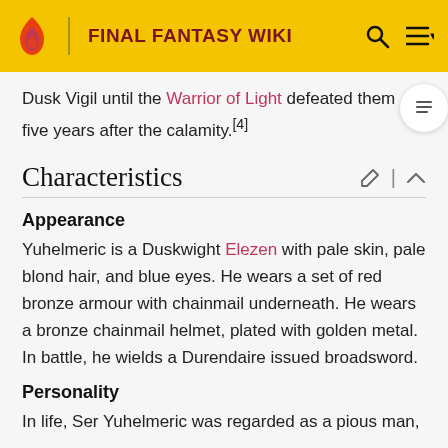FINAL FANTASY WIKI
Dusk Vigil until the Warrior of Light defeated them five years after the calamity.[4]
Characteristics
Appearance
Yuhelmeric is a Duskwight Elezen with pale skin, pale blond hair, and blue eyes. He wears a set of red bronze armour with chainmail underneath. He wears a bronze chainmail helmet, plated with golden metal. In battle, he wields a Durendaire issued broadsword.
Personality
In life, Ser Yuhelmeric was regarded as a pious man,